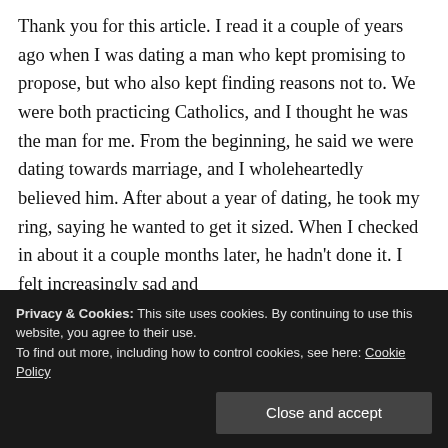Thank you for this article. I read it a couple of years ago when I was dating a man who kept promising to propose, but who also kept finding reasons not to. We were both practicing Catholics, and I thought he was the man for me. From the beginning, he said we were dating towards marriage, and I wholeheartedly believed him. After about a year of dating, he took my ring, saying he wanted to get it sized. When I checked in about it a couple months later, he hadn't done it. I felt increasingly sad and
Privacy & Cookies: This site uses cookies. By continuing to use this website, you agree to their use. To find out more, including how to control cookies, see here: Cookie Policy
Close and accept
Each time the timelines he gave me fell through,